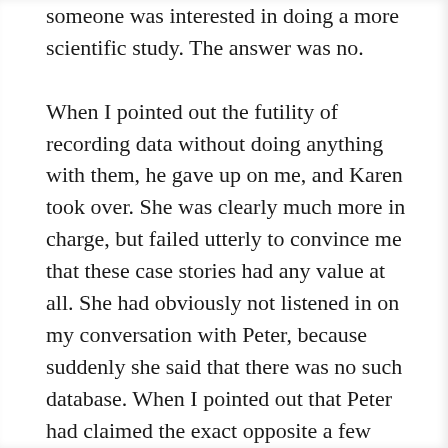someone was interested in doing a more scientific study. The answer was no.

When I pointed out the futility of recording data without doing anything with them, he gave up on me, and Karen took over. She was clearly much more in charge, but failed utterly to convince me that these case stories had any value at all. She had obviously not listened in on my conversation with Peter, because suddenly she said that there was no such database. When I pointed out that Peter had claimed the exact opposite a few moments ago, she dropped all pretense and started accusing me of sending out bad vibes. Why didn't I go solve world hunger, or bring on world peace, instead